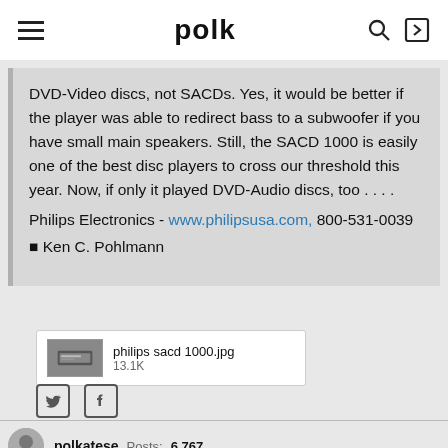polk
DVD-Video discs, not SACDs. Yes, it would be better if the player was able to redirect bass to a subwoofer if you have small main speakers. Still, the SACD 1000 is easily one of the best disc players to cross our threshold this year. Now, if only it played DVD-Audio discs, too . . . . Philips Electronics - www.philipsusa.com, 800-531-0039
© Ken C. Pohlmann
[Figure (screenshot): Thumbnail attachment: philips sacd 1000.jpg, 13.1K]
[Figure (logo): Twitter and Facebook social share icons]
polkatese   Posts: 6,767